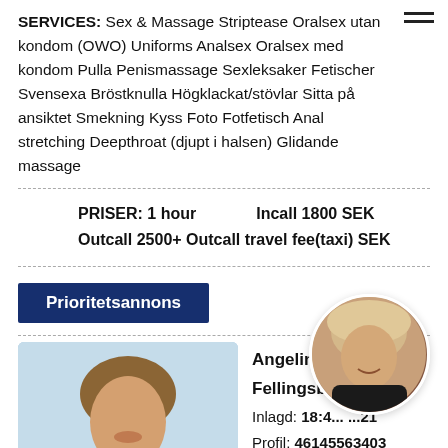SERVICES: Sex & Massage Striptease Oralsex utan kondom (OWO) Uniforms Analsex Oralsex med kondom Pulla Penismassage Sexleksaker Fetischer Svensexa Bröstknulla Högklackat/stövlar Sitta på ansiktet Smekning Kyss Foto Fotfetisch Anal stretching Deepthroat (djupt i halsen) Glidande massage
PRISER: 1 hour   Incall 1800 SEK
Outcall 2500+ Outcall travel fee(taxi) SEK
Prioritetsannons
[Figure (photo): Portrait photo of a young woman with long brown hair, smiling, against a light blue background]
Angelina Fellingsbr...
Inlagd: 18:4... ...21
Profil: 46145563403
[Figure (photo): Circular profile photo of a woman with blonde wavy hair wearing black clothing]